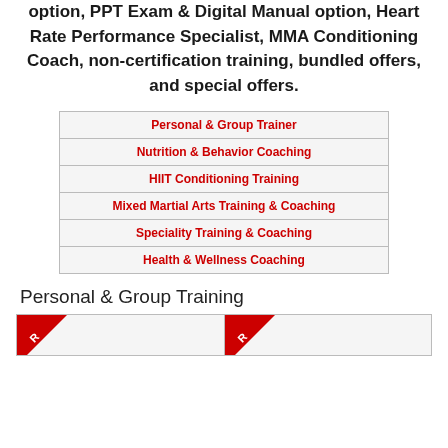option, PPT Exam & Digital Manual option, Heart Rate Performance Specialist, MMA Conditioning Coach, non-certification training, bundled offers, and special offers.
| Personal & Group Trainer |
| Nutrition & Behavior Coaching |
| HIIT Conditioning Training |
| Mixed Martial Arts Training & Coaching |
| Speciality Training & Coaching |
| Health & Wellness Coaching |
Personal & Group Training
[Figure (other): Partial view of two card/badge items with red ribbon/banner elements at the bottom of the page, partially cut off]